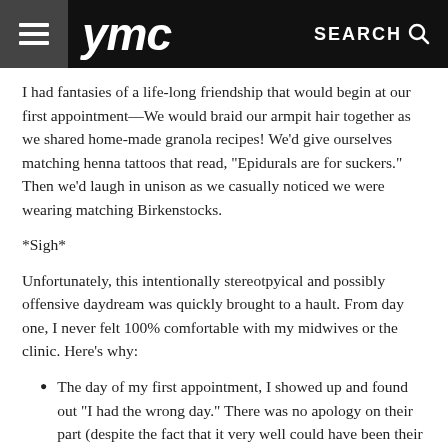ymc  SEARCH
I had fantasies of a life-long friendship that would begin at our first appointment—We would braid our armpit hair together as we shared home-made granola recipes! We'd give ourselves matching henna tattoos that read, "Epidurals are for suckers." Then we'd laugh in unison as we casually noticed we were wearing matching Birkenstocks.
*Sigh*
Unfortunately, this intentionally stereotpyical and possibly offensive daydream was quickly brought to a hault. From day one, I never felt 100% comfortable with my midwives or the clinic. Here's why:
The day of my first appointment, I showed up and found out "I had the wrong day." There was no apology on their part (despite the fact that it very well could have been their fault), and I was told just to show up the next day—like it didn't matter that I left